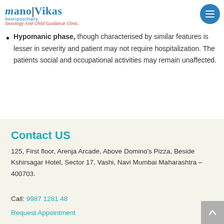Mano Vikas Neuropsychiatry, Sexology And Child Guidance Clinic.
Hypomanic phase, though characterised by similar features is lesser in severity and patient may not require hospitalization. The patients social and occupational activities may remain unaffected.
Contact US
125, First floor, Arenja Arcade, Above Domino's Pizza, Beside Kshirsagar Hotel, Sector 17, Vashi, Navi Mumbai Maharashtra – 400703.
Call: 9987 1281 48
Request Appointment